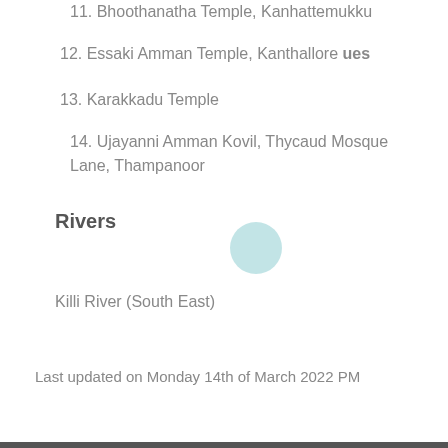11. Bhoothanatha Temple, Kanhattemukku
12. Essaki Amman Temple, Kanthallore ues
13. Karakkadu Temple
14. Ujayanni Amman Kovil, Thycaud Mosque Lane, Thampanoor
Rivers
Killi River (South East)
Last updated on Monday 14th of March 2022 PM